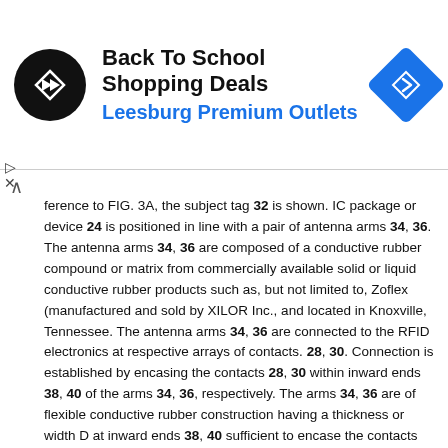[Figure (other): Advertisement banner: Back To School Shopping Deals at Leesburg Premium Outlets with logo and navigation icon]
ference to FIG. 3A, the subject tag 32 is shown. IC package or device 24 is positioned in line with a pair of antenna arms 34, 36. The antenna arms 34, 36 are composed of a conductive rubber compound or matrix from commercially available solid or liquid conductive rubber products such as, but not limited to, Zoflex (manufactured and sold by XILOR Inc., and located in Knoxville, Tennessee. The antenna arms 34, 36 are connected to the RFID electronics at respective arrays of contacts. 28, 30. Connection is established by encasing the contacts 28, 30 within inward ends 38, 40 of the arms 34, 36, respectively. The arms 34, 36 are of flexible conductive rubber construction having a thickness or width D at inward ends 38, 40 sufficient to encase the contacts 28, 30 and to overlap respective opposite ends of the electronic device or IC package 24. That is, the depth, width D, is wider than the IC package 24 whereby allowing the antenna arm inward ends 38, 40 to extend over opposite sides and edges of the IC package 24 as seen from FIG. 3A.
FIG. 3B shows the placement of a separator component 42 about the IC package 24. The component 42 encases the IC package 24 and is